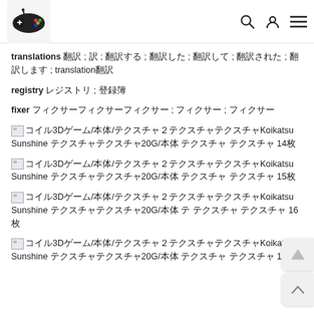[gaming site logo] search user menu
translations 翻訳 ; 訳 ; 翻訳する ; 翻訳した ; 翻訳して ; 翻訳された ; 翻訳します ; translation翻訳
registry レジストリ ; 登録簿
fixer フィクサーフィクサーフィクサー ; フィクサー ; フィクサー
[img]コイル3Dゲーム/本体/テクスチャ２テクスチャテクスチャKoikatsu Sunshine テクスチャテクスチャ20G/本体 テクスチャ テクスチャ14枚
[img]コイル3Dゲーム/本体/テクスチャ２テクスチャテクスチャKoikatsu Sunshine テクスチャテクスチャ20G/本体 テクスチャ テクスチャ15枚
[img]コイル3Dゲーム/本体/テクスチャ２テクスチャテクスチャKoikatsu Sunshine テクスチャテクスチャ20G/本体 テ テクスチャ テクスチャ16枚
[img]コイル3Dゲーム/本体/テクスチャ２テクスチャテクスチャKoikatsu Sunshine テクスチャテクスチャ20G/本体 テクスチャ テクスチャ17枚